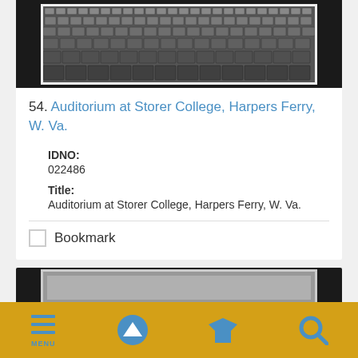[Figure (photo): Black and white photograph of an auditorium at Storer College showing rows of empty seats]
54. Auditorium at Storer College, Harpers Ferry, W. Va.
IDNO:
022486
Title:
Auditorium at Storer College, Harpers Ferry, W. Va.
Bookmark
[Figure (photo): Partial view of another photograph below]